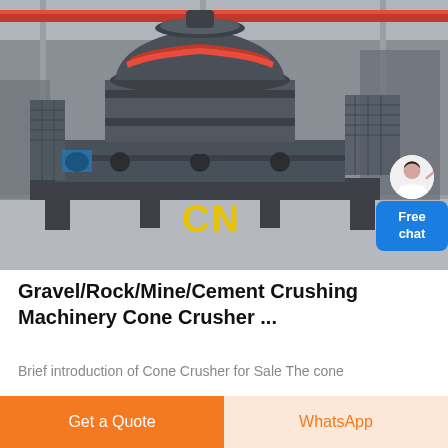[Figure (photo): Industrial cone crusher machine (large grey/black crushing machinery) photographed inside a factory/warehouse setting. The machine has a distinctive dome-shaped top with red trim, mounted on a heavy steel frame. 'CN' logo appears in yellow on the lower frame area. A customer service avatar and 'Free chat' button are overlaid in the top-right corner.]
Gravel/Rock/Mine/Cement Crushing Machinery Cone Crusher ...
Brief introduction of Cone Crusher for Sale The cone
Get a Quote
WhatsApp